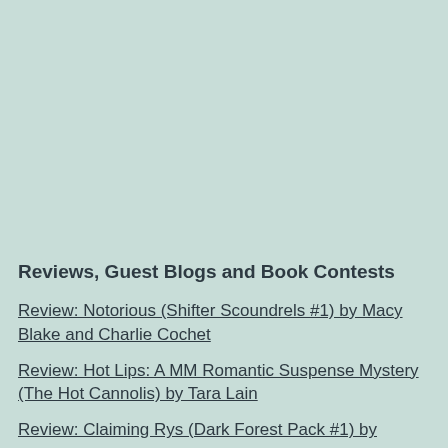Reviews, Guest Blogs and Book Contests
Review: Notorious (Shifter Scoundrels #1) by Macy Blake and Charlie Cochet
Review: Hot Lips: A MM Romantic Suspense Mystery (The Hot Cannolis) by Tara Lain
Review: Claiming Rys (Dark Forest Pack #1) by